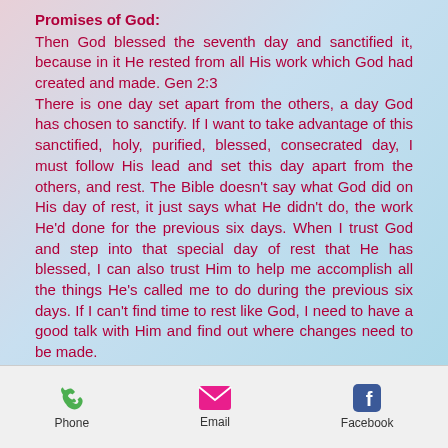Promises of God:
Then God blessed the seventh day and sanctified it, because in it He rested from all His work which God had created and made. Gen 2:3
There is one day set apart from the others, a day God has chosen to sanctify. If I want to take advantage of this sanctified, holy, purified, blessed, consecrated day, I must follow His lead and set this day apart from the others, and rest. The Bible doesn’t say what God did on His day of rest, it just says what He didn’t do, the work He’d done for the previous six days. When I trust God and step into that special day of rest that He has blessed, I can also trust Him to help me accomplish all the things He’s called me to do during the previous six days. If I can’t find time to rest like God, I need to have a good talk with Him and find out where changes need to be made.
Phone  Email  Facebook